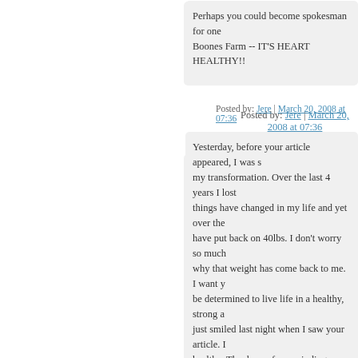Perhaps you could become spokesman for one Boones Farm -- IT'S HEART HEALTHY!!
Posted by: Jere | March 20, 2008 at 07:36
Yesterday, before your article appeared, I was s my transformation. Over the last 4 years I lost things have changed in my life and yet over the have put back on 40lbs. I don't worry so much why that weight has come back to me. I want y be determined to live life in a healthy, strong a just smiled last night when I saw your article. I healthy. Thank you for reminding me that it tak your happiness in being physically active in yo how you make your meals. I live on all types o thought of having soup with RICE NOODLES the kind of tastes I enjoy, but haven't tried as p Thank you very, very much for sharing your st
Posted by: persiansong | March 20, 2008 ...
Man, you rock.